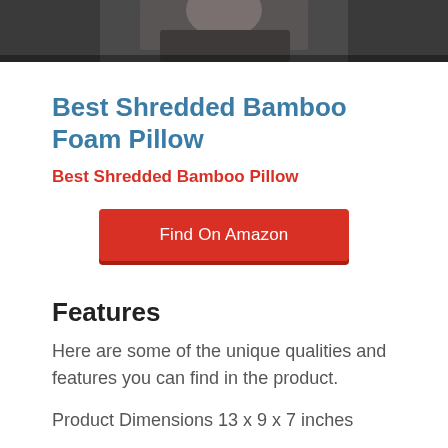[Figure (photo): Cropped photo showing a person on a pillow/couch, dark background, only top portion visible]
Best Shredded Bamboo Foam Pillow
Best Shredded Bamboo Pillow
Find On Amazon
Features
Here are some of the unique qualities and features you can find in the product.
Product Dimensions 13 x 9 x 7 inches